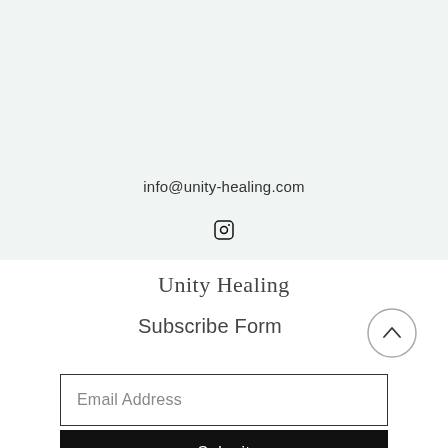info@unity-healing.com
[Figure (illustration): Row of four social/contact icons: Facebook (f), Instagram (circle with camera), location pin, and link/chain icon]
Unity Healing
Subscribe Form
Email Address
Submit